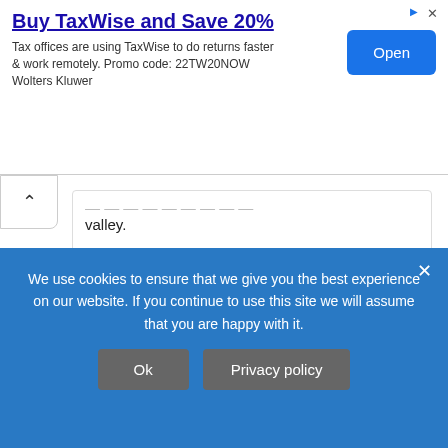[Figure (screenshot): Advertisement banner for TaxWise with title 'Buy TaxWise and Save 20%', body text, and an Open button]
valley.
Kiearieanna
November 4, 2018 at 5:23 am | Reply
We use cookies to ensure that we give you the best experience on our website. If you continue to use this site we will assume that you are happy with it.